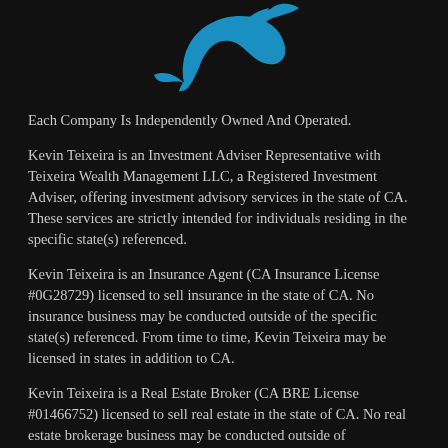[Figure (logo): Blue stylized dolphin or leaping animal logo on dark background]
Each Company Is Independently Owned And Operated.
Kevin Teixeira is an Investment Adviser Representative with Teixeira Wealth Management LLC, a Registered Investment Adviser, offering investment advisory services in the state of CA. These services are strictly intended for individuals residing in the specific state(s) referenced.
Kevin Teixeira is an Insurance Agent (CA Insurance License #0G28729) licensed to sell insurance in the state of CA. No insurance business may be conducted outside of the specific state(s) referenced. From time to time, Kevin Teixeira may be licensed in states in addition to CA.
Kevin Teixeira is a Real Estate Broker (CA BRE License #01466752) licensed to sell real estate in the state of CA. No real estate brokerage business may be conducted outside of